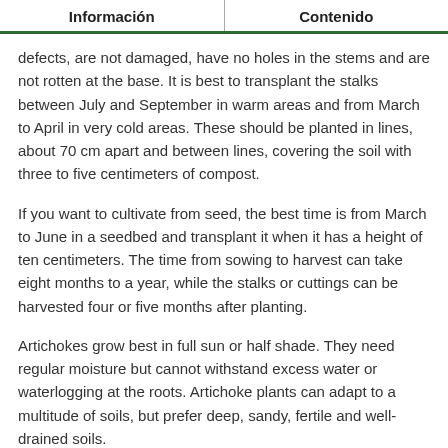Información | Contenido
defects, are not damaged, have no holes in the stems and are not rotten at the base. It is best to transplant the stalks between July and September in warm areas and from March to April in very cold areas. These should be planted in lines, about 70 cm apart and between lines, covering the soil with three to five centimeters of compost.
If you want to cultivate from seed, the best time is from March to June in a seedbed and transplant it when it has a height of ten centimeters. The time from sowing to harvest can take eight months to a year, while the stalks or cuttings can be harvested four or five months after planting.
Artichokes grow best in full sun or half shade. They need regular moisture but cannot withstand excess water or waterlogging at the roots. Artichoke plants can adapt to a multitude of soils, but prefer deep, sandy, fertile and well-drained soils.